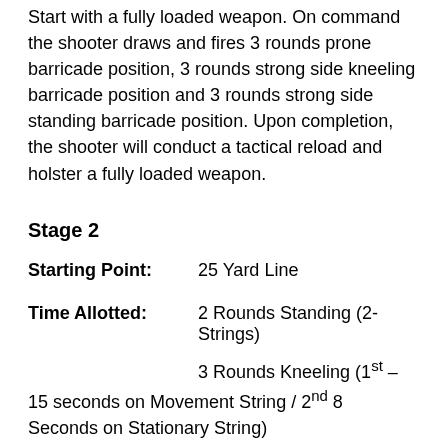Start with a fully loaded weapon. On command the shooter draws and fires 3 rounds prone barricade position, 3 rounds strong side kneeling barricade position and 3 rounds strong side standing barricade position. Upon completion, the shooter will conduct a tactical reload and holster a fully loaded weapon.
Stage 2
Starting Point: 25 Yard Line
Time Allotted: 2 Rounds Standing (2-Strings)
3 Rounds Kneeling (1st – 15 seconds on Movement String / 2nd 8 Seconds on Stationary String)
On command the shooter moves to the 15 yard line, draws